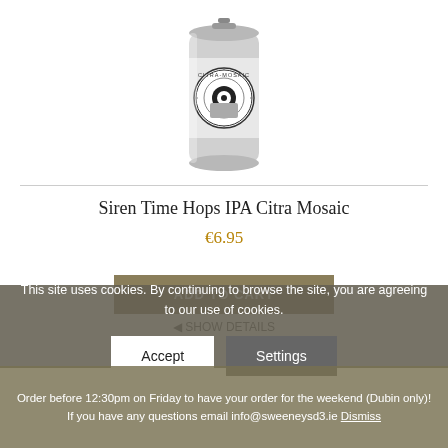[Figure (photo): A beer can with Siren Time Hops IPA Citra Mosaic branding, shown from slightly above, black and white/silver can with decorative circular label design]
Siren Time Hops IPA Citra Mosaic
€6.95
ADD TO CART
SHOW DETAILS
This site uses cookies. By continuing to browse the site, you are agreeing to our use of cookies.
Accept
Settings
Order before 12:30pm on Friday to have your order for the weekend (Dubin only)! If you have any questions email info@sweeneysd3.ie Dismiss